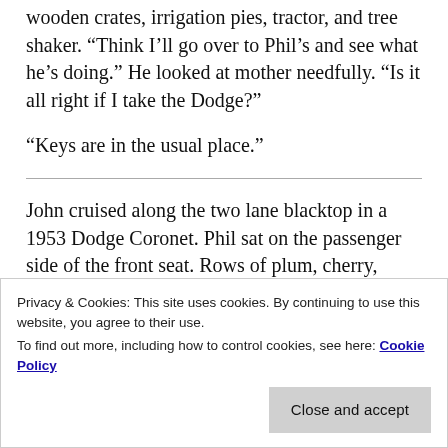wooden crates, irrigation pies, tractor, and tree shaker. “Think I’ll go over to Phil’s and see what he’s doing.” He looked at mother needfully. “Is it all right if I take the Dodge?”
“Keys are in the usual place.”
John cruised along the two lane blacktop in a 1953 Dodge Coronet. Phil sat on the passenger side of the front seat. Rows of plum, cherry, apricot, lemon, and almond trees bordered either side of the street, interspersed with tomatoes, peppers,
Privacy & Cookies: This site uses cookies. By continuing to use this website, you agree to their use.
To find out more, including how to control cookies, see here: Cookie Policy